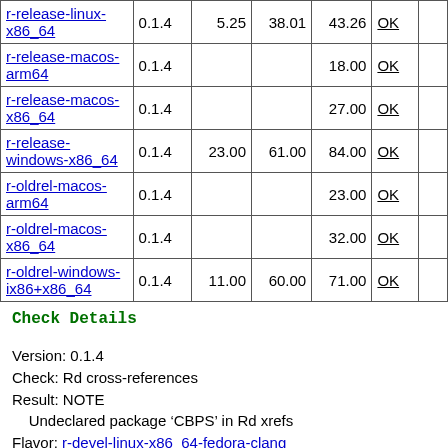| r-release-linux-x86_64 | 0.1.4 | 5.25 | 38.01 | 43.26 | OK |  |
| r-release-macos-arm64 | 0.1.4 |  |  | 18.00 | OK |  |
| r-release-macos-x86_64 | 0.1.4 |  |  | 27.00 | OK |  |
| r-release-windows-x86_64 | 0.1.4 | 23.00 | 61.00 | 84.00 | OK |  |
| r-oldrel-macos-arm64 | 0.1.4 |  |  | 23.00 | OK |  |
| r-oldrel-macos-x86_64 | 0.1.4 |  |  | 32.00 | OK |  |
| r-oldrel-windows-ix86+x86_64 | 0.1.4 | 11.00 | 60.00 | 71.00 | OK |  |
Check Details
Version: 0.1.4
Check: Rd cross-references
Result: NOTE
    Undeclared package ‘CBPS’ in Rd xrefs
Flavor: r-devel-linux-x86_64-fedora-clang